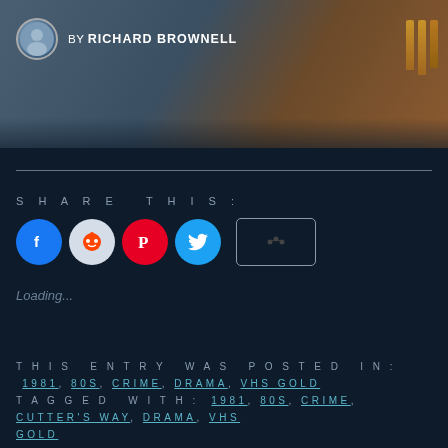[Figure (photo): Top banner image showing a dark scene with a person and bullets/ammunition, partially visible. Author credit bar overlaid at top left.]
BY RICHARD BROWNELL
SHARE THIS:
[Figure (infographic): Social share buttons: Facebook (blue circle), Reddit (light blue circle), Pinterest (red circle), Twitter (cyan circle), and a More button (outlined rectangle with share icon).]
Loading...
THIS ENTRY WAS POSTED IN: 1981, 80S, CRIME, DRAMA, VHS GOLD
TAGGED WITH: 1981, 80S, CRIME, CUTTER'S WAY, DRAMA, VHS GOLD